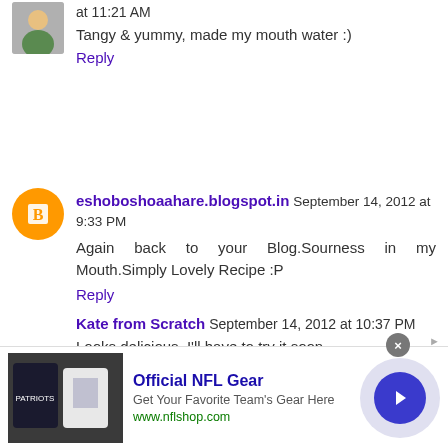at 11:21 AM
Tangy & yummy, made my mouth water :)
Reply
eshoboshoaahare.blogspot.in September 14, 2012 at 9:33 PM
Again back to your Blog.Sourness in my Mouth.Simply Lovely Recipe :P
Reply
Kate from Scratch September 14, 2012 at 10:37 PM
Looks delicious. I'll have to try it soon.
Reply
[Figure (infographic): Advertisement banner for Official NFL Gear with team jersey image, text 'Get Your Favorite Team's Gear Here', URL www.nflshop.com, and a blue arrow button]